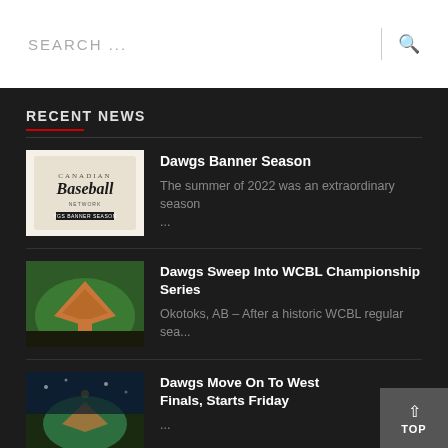SEARCH ...
RECENT NEWS
[Figure (photo): Canadian Baseball Network logo with text 'Baseball' and 'YGS BANNER SEASON']
Dawgs Banner Season
The summer of 2022 was an extraordinary season ...
[Figure (photo): Aerial view of a baseball field with green grass and red dirt infield]
Dawgs Sweep Into WCBL Championship Series
Okotoks, AB – After a historic WCBL regular sea...
[Figure (photo): Night aerial view of a baseball stadium]
Dawgs Move On To West Finals, Starts Friday
...